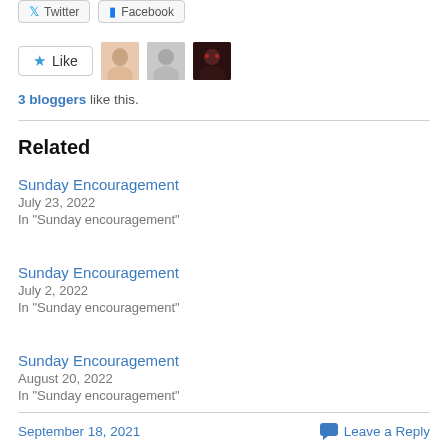[Figure (screenshot): Twitter and Facebook share buttons at top]
[Figure (screenshot): Like button with star icon and three blogger avatar thumbnails]
3 bloggers like this.
Related
Sunday Encouragement
July 23, 2022
In "Sunday encouragement"
Sunday Encouragement
July 2, 2022
In "Sunday encouragement"
Sunday Encouragement
August 20, 2022
In "Sunday encouragement"
September 18, 2021   Leave a Reply